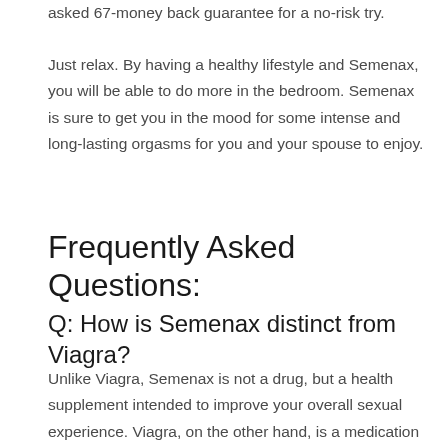asked 67-money back guarantee for a no-risk try.
Just relax. By having a healthy lifestyle and Semenax, you will be able to do more in the bedroom. Semenax is sure to get you in the mood for some intense and long-lasting orgasms for you and your spouse to enjoy.
Frequently Asked Questions:
Q: How is Semenax distinct from Viagra?
Unlike Viagra, Semenax is not a drug, but a health supplement intended to improve your overall sexual experience. Viagra, on the other hand, is a medication working to keep your penis erect for longer durations. Semenax is not connected with any of the side